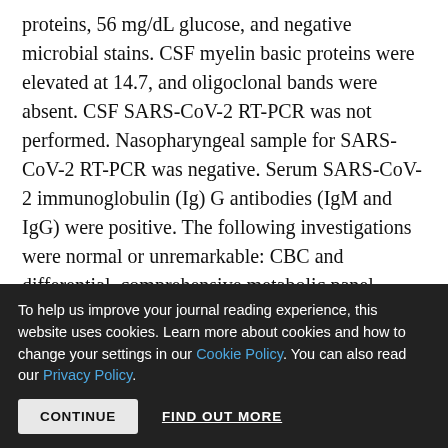proteins, 56 mg/dL glucose, and negative microbial stains. CSF myelin basic proteins were elevated at 14.7, and oligoclonal bands were absent. CSF SARS-CoV-2 RT-PCR was not performed. Nasopharyngeal sample for SARS-CoV-2 RT-PCR was negative. Serum SARS-CoV-2 immunoglobulin (Ig) G antibodies (IgM and IgG) were positive. The following investigations were normal or unremarkable: CBC and differential, comprehensive metabolic panel, rheumatology panel, meningoencephalitis viral panel, ACE, and complement 3/4; serology of hepatitis B, hepatitis C, herpes simplex
To help us improve your journal reading experience, this website uses cookies. Learn more about cookies and how to change your settings in our Cookie Policy. You can also read our Privacy Policy.